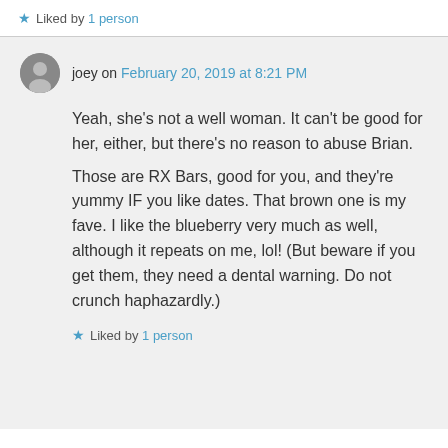★ Liked by 1 person
joey on February 20, 2019 at 8:21 PM
Yeah, she's not a well woman. It can't be good for her, either, but there's no reason to abuse Brian.
Those are RX Bars, good for you, and they're yummy IF you like dates. That brown one is my fave. I like the blueberry very much as well, although it repeats on me, lol! (But beware if you get them, they need a dental warning. Do not crunch haphazardly.)
★ Liked by 1 person